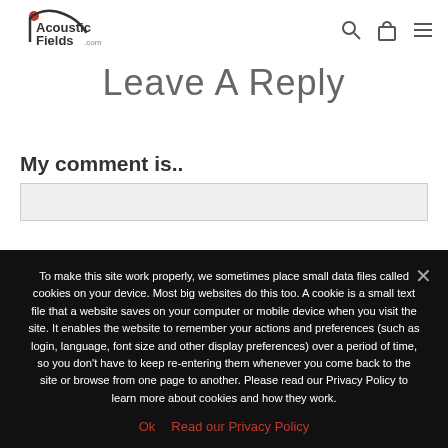Acoustic Fields .com [navigation header with search, cart, menu icons]
Leave A Reply
My comment is..
To make this site work properly, we sometimes place small data files called cookies on your device. Most big websites do this too. A cookie is a small text file that a website saves on your computer or mobile device when you visit the site. It enables the website to remember your actions and preferences (such as login, language, font size and other display preferences) over a period of time, so you don't have to keep re-entering them whenever you come back to the site or browse from one page to another. Please read our Privacy Policy to learn more about cookies and how they work.
Ok   Read our Privacy Policy